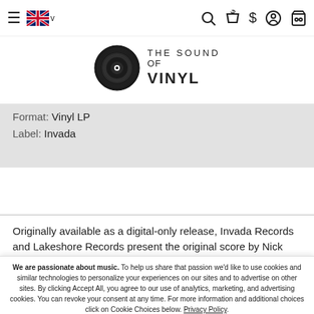[Figure (logo): The Sound of Vinyl website header navigation bar with hamburger menu, UK flag language selector, search icon, dollar sign, user icon, and shopping cart icon]
[Figure (logo): The Sound of Vinyl logo — vinyl record circle graphic with THE SOUND OF VINYL text]
Format:  Vinyl LP
Label:  Invada
Originally available as a digital-only release, Invada Records and Lakeshore Records present the original score by Nick Cave and
We are passionate about music. To help us share that passion we'd like to use cookies and similar technologies to personalize your experiences on our sites and to advertise on other sites. By clicking Accept All, you agree to our use of analytics, marketing, and advertising cookies. You can revoke your consent at any time. For more information and additional choices click on Cookie Choices below. Privacy Policy.